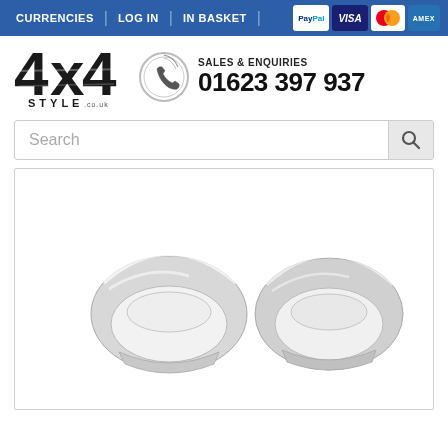CURRENCIES | LOG IN | IN BASKET | [PayPal] [VISA] [MC] [AMEX]
[Figure (logo): 4x4 Style .co.uk logo in bold distressed font with phone icon circle]
SALES & ENQUIRIES
01623 397 937
Search
[Figure (photo): Two chrome car wing mirror covers side by side on white background]